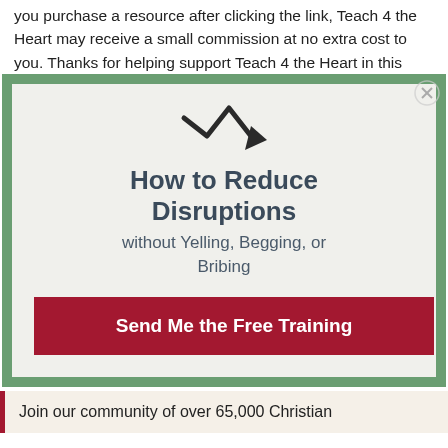you purchase a resource after clicking the link, Teach 4 the Heart may receive a small commission at no extra cost to you. Thanks for helping support Teach 4 the Heart in this
[Figure (illustration): Green bordered white box with a downward zigzag arrow icon, bold heading 'How to Reduce Disruptions', subtitle 'without Yelling, Begging, or Bribing', and a dark red call-to-action button 'Send Me the Free Training'. A circular close button appears in the top-right corner of the green border.]
Join our community of over 65,000 Christian